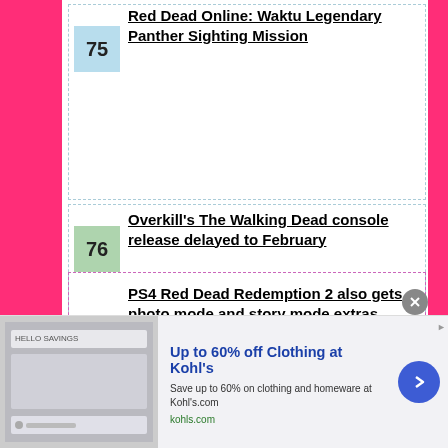75 Red Dead Online: Waktu Legendary Panther Sighting Mission
76 Overkill's The Walking Dead console release delayed to February
77 PS4 Red Dead Redemption 2 also gets photo mode and story mode extras
[Figure (screenshot): Advertisement banner: Up to 60% off Clothing at Kohl's. Save up to 60% on clothing and homeware at Kohl's.com. kohls.com]